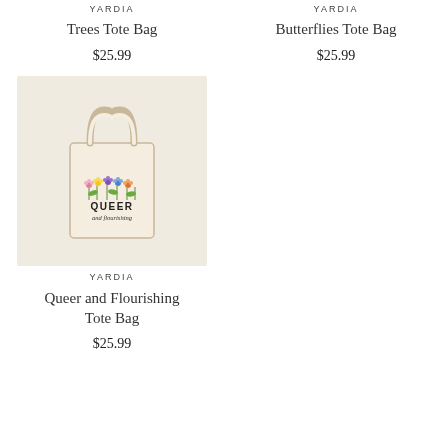YARDIA
Trees Tote Bag
$25.99
YARDIA
Butterflies Tote Bag
$25.99
[Figure (photo): Cream canvas tote bag with colorful floral illustration and text 'QUEER and flourishing' printed on it, against a light beige background]
YARDIA
Queer and Flourishing Tote Bag
$25.99